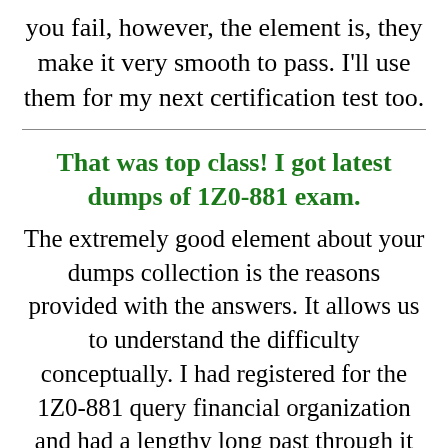you fail, however, the element is, they make it very smooth to pass. I'll use them for my next certification test too.
That was top class! I got latest dumps of 1Z0-881 exam.
The extremely good element about your dumps collection is the reasons provided with the answers. It allows us to understand the difficulty conceptually. I had registered for the 1Z0-881 query financial organization and had a lengthy long past through it three-four instances. In the exam, I attempted all the questions beneath 40 minutes and scored 90 marks. Thanks for making it easy for us. Heartly manner to killexams.com team, with